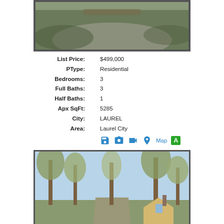[Figure (photo): Outdoor photo showing gravel driveway with grass and trees, top portion of a property listing]
| Field | Value |
| --- | --- |
| List Price: | $499,000 |
| PType: | Residential |
| Bedrooms: | 3 |
| Full Baths: | 3 |
| Half Baths: | 1 |
| Apx SqFt: | 5285 |
| City: | LAUREL |
| Area: | Laurel City |
[Figure (photo): Exterior photo showing house with trees lining a driveway, gable roof visible, spring foliage]